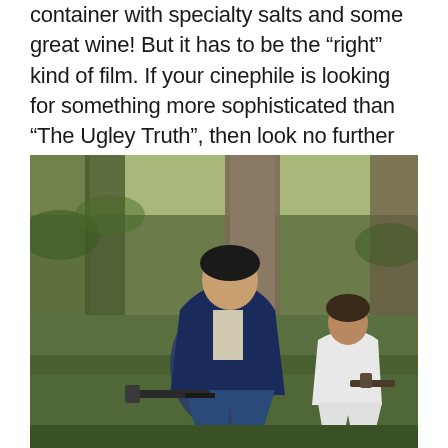container with specialty salts and some great wine! But it has to be the “right” kind of film. If your cinephile is looking for something more sophisticated than “The Ugley Truth”, then look no further than here:
[Figure (photo): Vintage photograph showing an adult man in a dark jacket kneeling on grass holding a rifle, facing a small child dressed in a white suit also holding a weapon. Palm trees and green grass visible in the background.]